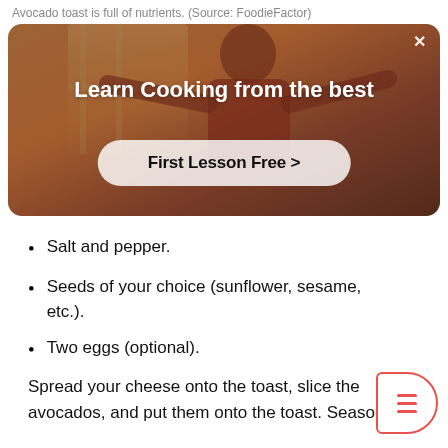Avocado toast is full of nutrients. (Source: FoodieFactor)
[Figure (screenshot): Advertisement banner with a person cooking in the background. Text reads 'Learn Cooking from the best' with a button 'First Lesson Free >' and a close (×) button in the top right corner.]
Salt and pepper.
Seeds of your choice (sunflower, sesame, etc.).
Two eggs (optional).
Spread your cheese onto the toast, slice the avocados, and put them onto the toast. Season